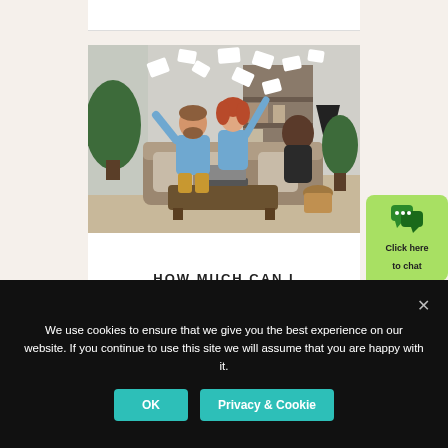[Figure (photo): People sitting on a couch in a modern living room, tossing papers in the air joyfully. A man with a beard and woman with red hair wearing blue shirts are visible, with green plants and shelves in the background.]
HOW MUCH CAN I
[Figure (other): Green chat bubble widget with messaging icon and text 'Click here to chat']
We use cookies to ensure that we give you the best experience on our website. If you continue to use this site we will assume that you are happy with it.
OK   Privacy & Cookie